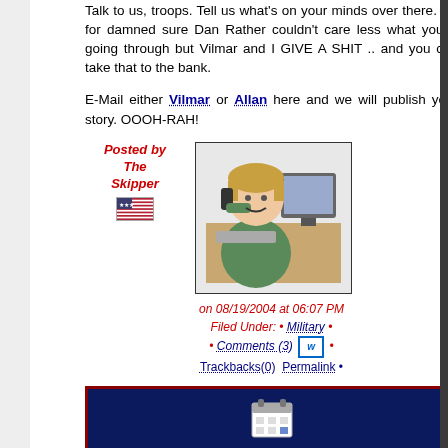Talk to us, troops. Tell us what's on your minds over there. It's for damned sure Dan Rather couldn't care less what you're going through but Vilmar and I GIVE A SHIT .. and you can take that to the bank.
E-Mail either Vilmar or Allan here and we will publish your story. OOOH-RAH!
[Figure (illustration): Illustration of a person at a desk talking on the phone, with a computer in the background]
Posted by The Skipper
on 08/19/2004 at 06:07 PM
Filed Under: • Military •
• Comments (3) •
Trackbacks(0) Permalink •